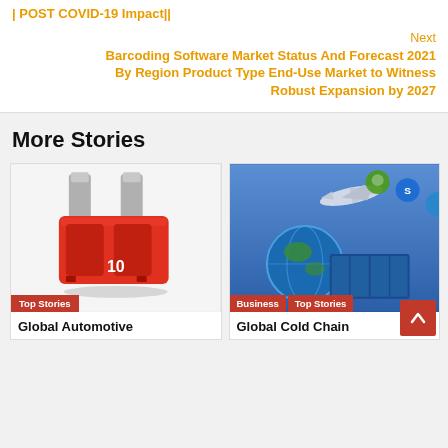| POST COVID-19 Impact||
Next
Barcoding Software Market Status And Forecast 2021 By Region Product Type End-Use Market to Witness Robust Expansion by 2027
More Stories
[Figure (photo): Red automotive blade fuse with metallic terminals showing number 10, on white background. Tag: Top Stories]
Global Automotive
[Figure (photo): Global cold chain logistics concept image showing airplane, globe, shipping container, and app icons. Tags: Business, Top Stories]
Global Cold Chain